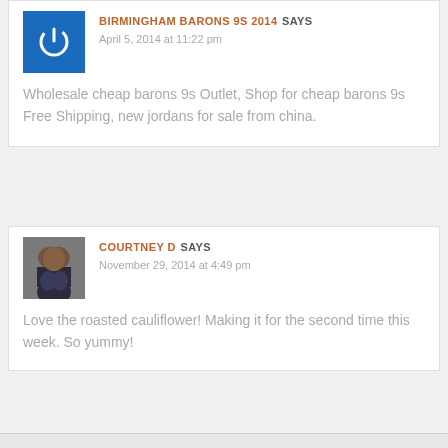BIRMINGHAM BARONS 9S 2014 SAYS
April 5, 2014 at 11:22 pm
Wholesale cheap barons 9s Outlet, Shop for cheap barons 9s Free Shipping, new jordans for sale from china.
COURTNEY D SAYS
November 29, 2014 at 4:49 pm
Love the roasted cauliflower! Making it for the second time this week. So yummy!